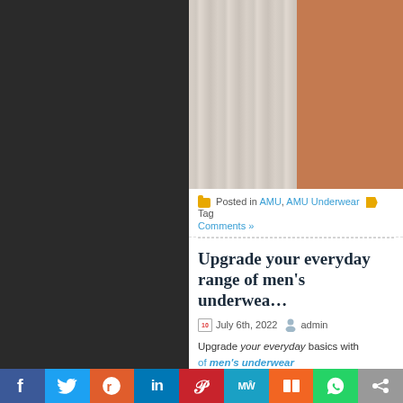[Figure (photo): Left dark sidebar and right content area with a photo of white curtain fabric and a person's bare skin/torso]
Posted in AMU, AMU Underwear Tags... Comments »
Upgrade your everyday range of men's underwear
July 6th, 2022  admin
Upgrade your everyday basics with... of men's underwear
[Figure (infographic): Social sharing bar with icons: Facebook, Twitter, Reddit, LinkedIn, Pinterest, MeWe, Mix, WhatsApp, Share]